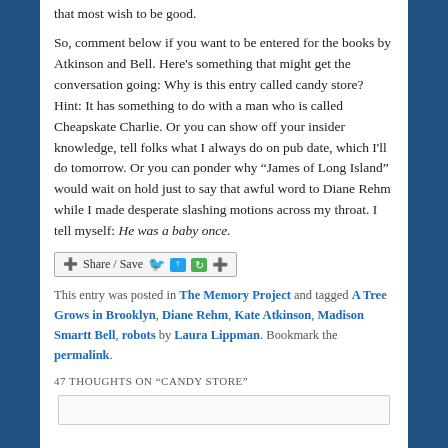that most wish to be good.
So, comment below if you want to be entered for the books by Atkinson and Bell. Here's something that might get the conversation going: Why is this entry called candy store? Hint: It has something to do with a man who is called Cheapskate Charlie. Or you can show off your insider knowledge, tell folks what I always do on pub date, which I'll do tomorrow. Or you can ponder why “James of Long Island” would wait on hold just to say that awful word to Diane Rehm while I made desperate slashing motions across my throat. I tell myself: He was a baby once.
[Figure (other): Share/Save social sharing button bar with Facebook, Twitter, and other icons]
This entry was posted in The Memory Project and tagged A Tree Grows in Brooklyn, Diane Rehm, Kate Atkinson, Madison Smartt Bell, robots by Laura Lippman. Bookmark the permalink.
47 THOUGHTS ON “CANDY STORE”
[Figure (other): Empty comment input box]